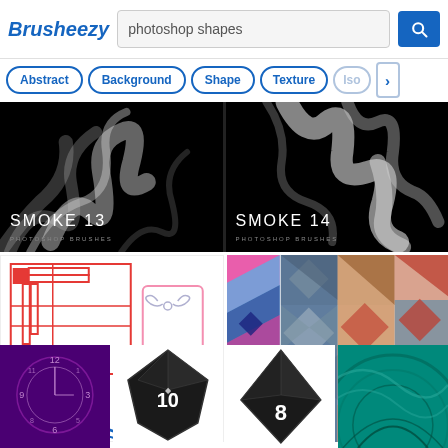[Figure (screenshot): Brusheezy website screenshot showing search interface with logo, search bar for 'photoshop shapes', navigation pills (Abstract, Background, Shape, Texture, Iso), and a grid of resource thumbnails including Smoke 13 Photoshop Brushes, Smoke 14 Photoshop Brushes, geometric shapes on white background, colorful geometric patterns, and bottom row thumbnails.]
Brusheezy — photoshop shapes
Abstract
Background
Shape
Texture
Iso
SMOKE 13
PHOTOSHOP BRUSHES
SMOKE 14
PHOTOSHOP BRUSHES